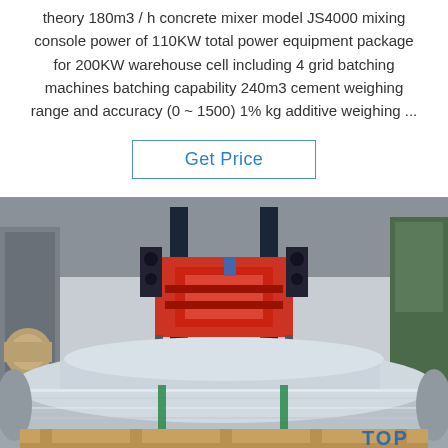theory 180m3 / h concrete mixer model JS4000 mixing console power of 110KW total power equipment package for 200KW warehouse cell including 4 grid batching machines batching capability 240m3 cement weighing range and accuracy (0 ~ 1500) 1% kg additive weighing ...
Get Price
[Figure (photo): Industrial warehouse interior showing a large forklift (red/orange) lifting heavy metal coils/rolls on a factory floor. Large shiny aluminum/steel coils are stacked on wooden pallets in the foreground. A 'TOP' logo watermark appears in the bottom right corner.]